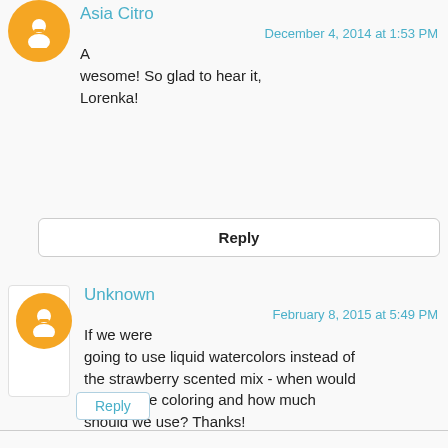Asia Citro
December 4, 2014 at 1:53 PM
Awesome! So glad to hear it, Lorenka!
Reply
Unknown
February 8, 2015 at 5:49 PM
If we were going to use liquid watercolors instead of the strawberry scented mix - when would we add the coloring and how much should we use? Thanks!
Reply